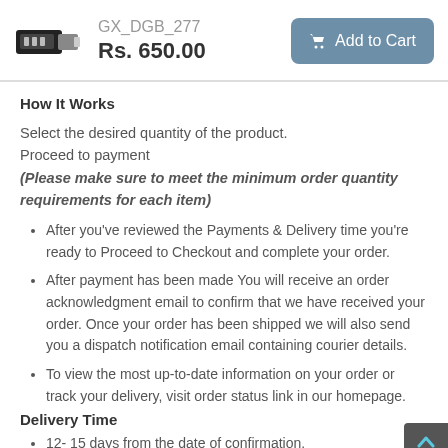[Figure (photo): Small image of a USB flash drive / portable device (GX_DGB_277 product photo)]
GX_DGB_277
Rs. 650.00
Add to Cart
How It Works
Select the desired quantity of the product.
Proceed to payment
(Please make sure to meet the minimum order quantity requirements for each item)
After you've reviewed the Payments & Delivery time you're ready to Proceed to Checkout and complete your order.
After payment has been made You will receive an order acknowledgment email to confirm that we have received your order. Once your order has been shipped we will also send you a dispatch notification email containing courier details.
To view the most up-to-date information on your order or track your delivery, visit order status link in our homepage.
Delivery Time
12- 15 days from the date of confirmation.